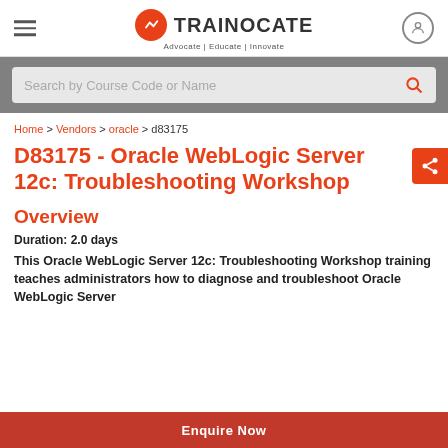TRAINOCATE — Advocate | Educate | Innovate
Search by Course Code or Name
Home > Vendors > oracle > d83175
D83175 - Oracle WebLogic Server 12c: Troubleshooting Workshop
Overview
Duration: 2.0 days
This Oracle WebLogic Server 12c: Troubleshooting Workshop training teaches administrators how to diagnose and troubleshoot Oracle WebLogic Server
Enquire Now